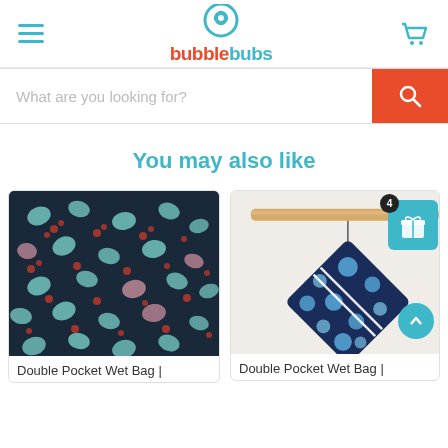[Figure (logo): BubbleBubs logo with hamburger menu and cart icon in header]
[Figure (screenshot): Search bar with placeholder text 'What are you looking for?' and red search button]
You may also like
[Figure (photo): Product card: Double Pocket Wet Bag with dark floral/bird pattern fabric closeup]
Double Pocket Wet Bag |
[Figure (photo): Product card: Double Pocket Wet Bag with dark blue bubble/dot pattern, shown hanging from wooden rod]
Double Pocket Wet Bag |